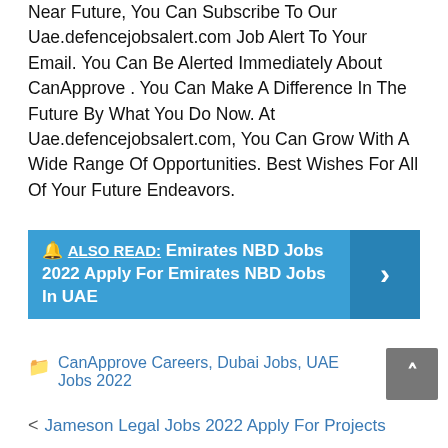Near Future, You Can Subscribe To Our Uae.defencejobsalert.com Job Alert To Your Email. You Can Be Alerted Immediately About CanApprove . You Can Make A Difference In The Future By What You Do Now. At Uae.defencejobsalert.com, You Can Grow With A Wide Range Of Opportunities. Best Wishes For All Of Your Future Endeavors.
🔔 ALSO READ: Emirates NBD Jobs 2022 Apply For Emirates NBD Jobs In UAE
CanApprove Careers, Dubai Jobs, UAE Jobs 2022
< Jameson Legal Jobs 2022 Apply For Projects